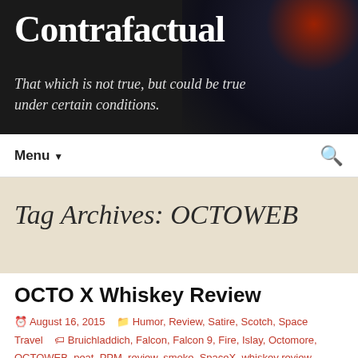Contrafactual
That which is not true, but could be true under certain conditions.
Menu ▼
Tag Archives: OCTOWEB
OCTO X Whiskey Review
August 16, 2015   Humor, Review, Satire, Scotch, Space Travel   Bruichladdich, Falcon, Falcon 9, Fire, Islay, Octomore, OCTOWEB, peat, PPM, review, smoke, SpaceX, whiskey review, whisky   cb